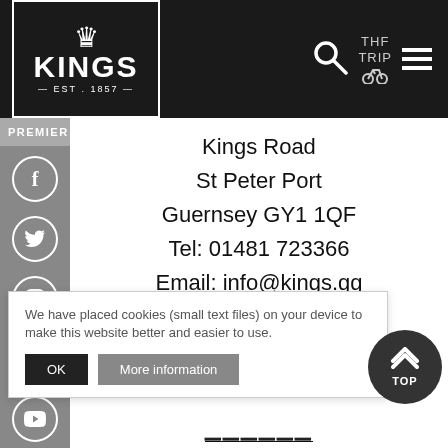KINGS EST. 1857 — PREMIER HEALTH CLUB
Kings Road
St Peter Port
Guernsey GY1 1QF
Tel: 01481 723366
Email: info@kings.gg
Opening Hours
Mon-Thurs: 6.00am-9pm.
We have placed cookies (small text files) on your device to make this website better and easier to use.
OK   More information